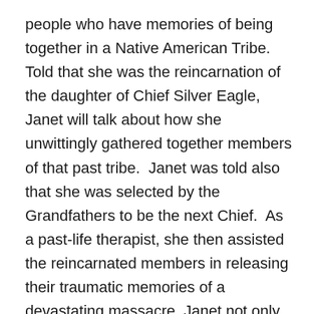people who have memories of being together in a Native American Tribe.  Told that she was the reincarnation of the daughter of Chief Silver Eagle, Janet will talk about how she unwittingly gathered together members of that past tribe.  Janet was told also that she was selected by the Grandfathers to be the next Chief.  As a past-life therapist, she then assisted the reincarnated members in releasing their traumatic memories of a devastating massacre. Janet not only did enormous healing work for the friends, family members and clients who were part of that tribe, but also pioneered a new regression modality practiced today by very few other practitioners: intact-group past life regression, wherein an entire group of individuals who were connected to each other in a past life are regressed together to that lifetime.  Listen to a discussion of an amazing collective journey.